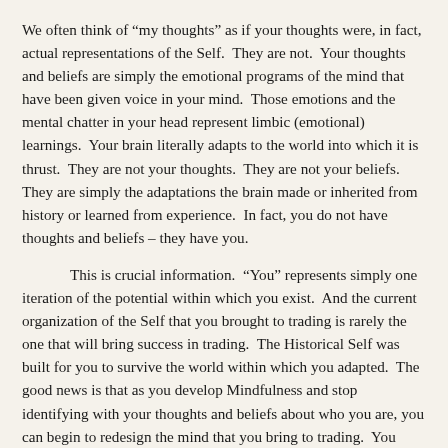We often think of “my thoughts” as if your thoughts were, in fact, actual representations of the Self.  They are not.  Your thoughts and beliefs are simply the emotional programs of the mind that have been given voice in your mind.  Those emotions and the mental chatter in your head represent limbic (emotional) learnings.  Your brain literally adapts to the world into which it is thrust.  They are not your thoughts.  They are not your beliefs.  They are simply the adaptations the brain made or inherited from history or learned from experience.  In fact, you do not have thoughts and beliefs – they have you.
This is crucial information.  “You” represents simply one iteration of the potential within which you exist.  And the current organization of the Self that you brought to trading is rarely the one that will bring success in trading.  The Historical Self was built for you to survive the world within which you adapted.  The good news is that as you develop Mindfulness and stop identifying with your thoughts and beliefs about who you are, you can begin to redesign the mind that you bring to trading.  You move away from